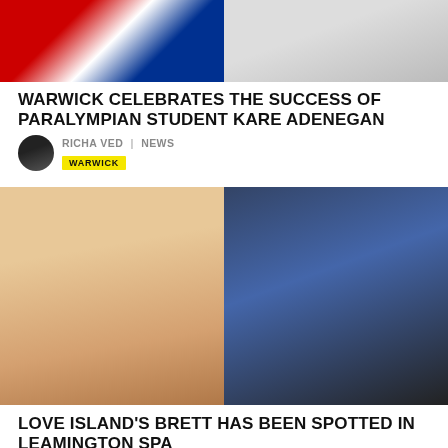[Figure (photo): Two photos side by side: left shows a person in a colorful jacket, right shows someone with a camera in a gallery setting]
WARWICK CELEBRATES THE SUCCESS OF PARALYMPIAN STUDENT KARE ADENEGAN
RICHA VED | NEWS
WARWICK
[Figure (photo): Two photos side by side: left shows Love Island's Brett shirtless at a Love Island backdrop, right shows people on a street in Leamington Spa]
LOVE ISLAND'S BRETT HAS BEEN SPOTTED IN LEAMINGTON SPA
ZAHRA ASIF | NEWS